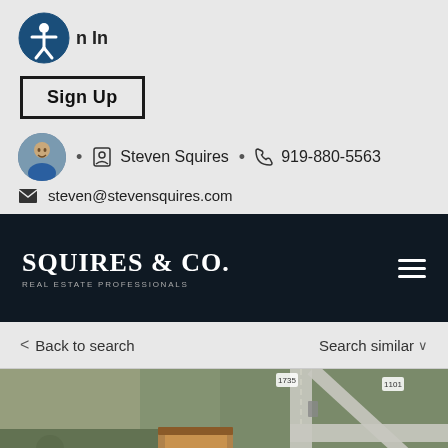Sign In
Sign Up
· Steven Squires · 919-880-5563
steven@stevensquires.com
[Figure (logo): Squires & Co. Real Estate Professionals logo in white on dark navy background with hamburger menu icon]
< Back to search
Search similar >
[Figure (map): Aerial satellite map view showing a house at address 3004, road intersections, and surrounding land parcels with a teal property boundary outline]